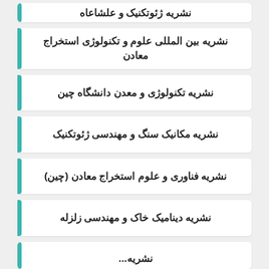نشریه ژئوتکنیک و علشاعاه
نشریه بین المللی علوم و تکنولوژی استخراج معادن
نشریه تکنولوژی و معدن دانشگاه چین
نشریه مکانیک سنگ و مهندسی ژئوتکنیک
نشریه فناوری و علوم استخراج معادن (چین)
نشریه دینامیک خاک و مهندسی زلزله
نشریه...